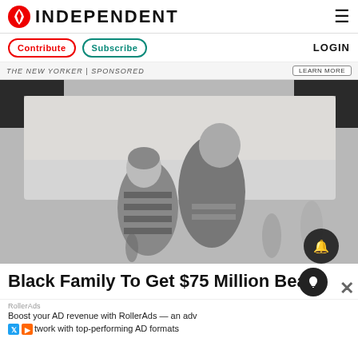INDEPENDENT
Contribute  Subscribe  LOGIN
THE NEW YORKER | Sponsored  Learn More
[Figure (photo): Black and white vintage photograph of two people in swimwear at a beach, a woman in a striped bathing suit and cap smiling, and a taller man in a dark tank swimsuit with his arm around her, with other beachgoers visible in the background.]
Black Family To Get $75 Million Beach
RollerAds
Boost your AD revenue with RollerAds — an adv
twork with top-performing AD formats